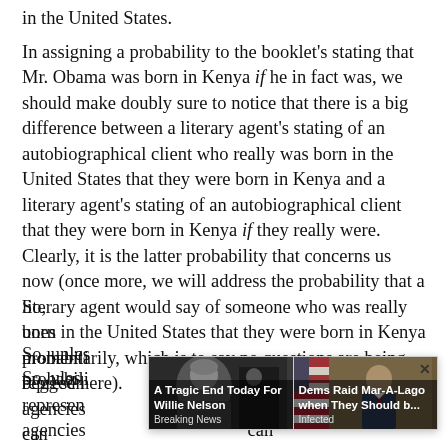in the United States.
In assigning a probability to the booklet's stating that Mr. Obama was born in Kenya if he in fact was, we should make doubly sure to notice that there is a big difference between a literary agent's stating of an autobiographical client who really was born in the United States that they were born in Kenya and a literary agent's stating of an autobiographical client that they were born in Kenya if they really were. Clearly, it is the latter probability that concerns us now (once more, we will address the probability that a literary agent would say of someone who was really born in the United States that they were born in Kenya momentarily, which is to say no questions are being begged here).
So, unless [text obscured by ad overlay] probability [text obscured] represents [text obscured] ary agencies [text obscured] can
[Figure (other): Advertisement overlay with two news items: 'A Tragic End Today For Willie Nelson' (Breaking News) showing photo of elderly man, and 'Dems Raid Mar-A-Lago when They Should b...' (Infected) showing photo of a man in suit with American flag, with a close (X) button.]